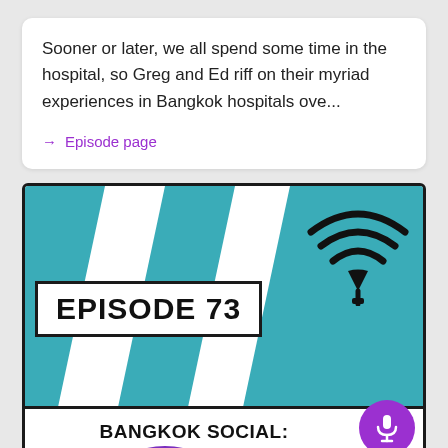Sooner or later, we all spend some time in the hospital, so Greg and Ed riff on their myriad experiences in Bangkok hospitals ove...
→ Episode page
[Figure (illustration): Podcast episode card for Episode 73 of Bangkok Social: Conversations That Matter At Aristotle's Cafe. Teal background with white diagonal stripes, WiFi/broadcast icon top right, black bordered box with Episode 73 text, white title band below, purple microphone button, purple orb at bottom.]